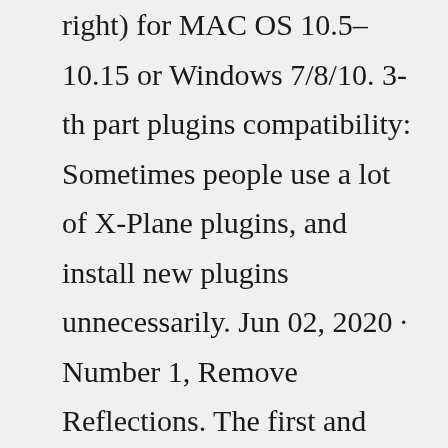right) for MAC OS 10.5–10.15 or Windows 7/8/10. 3-th part plugins compatibility: Sometimes people use a lot of X-Plane plugins, and install new plugins unnecessarily. Jun 02, 2020 · Number 1, Remove Reflections. The first and easiest thing you can do to improve your sim is to remove any reflections from your X-Plane 11 Settings. The reflections appear to have a very minimal impact on visuals and have a major impact on your sim. Removing these